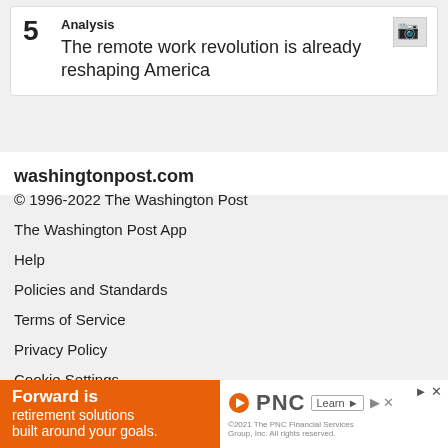5 Analysis — The remote work revolution is already reshaping America
washingtonpost.com
© 1996-2022 The Washington Post
The Washington Post App
Help
Policies and Standards
Terms of Service
Privacy Policy
Cookie Settings
Print Products Terms of Sale
Digital Products Terms of Sale
Submissions and Discussion Policy
RSS Terms of Service
[Figure (infographic): PNC advertisement banner: 'Forward is retirement solutions built around your goals.' with PNC logo and Learn more button]